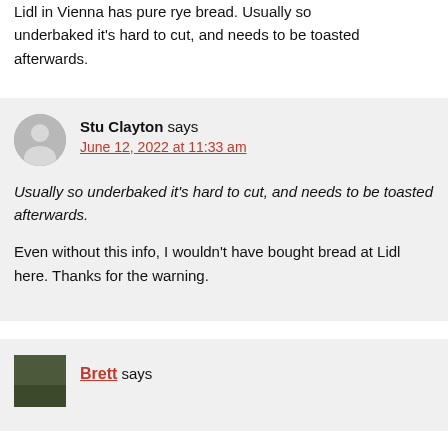Lidl in Vienna has pure rye bread. Usually so underbaked it's hard to cut, and needs to be toasted afterwards.
Stu Clayton says
June 12, 2022 at 11:33 am

Usually so underbaked it's hard to cut, and needs to be toasted afterwards.

Even without this info, I wouldn't have bought bread at Lidl here. Thanks for the warning.
Brett says